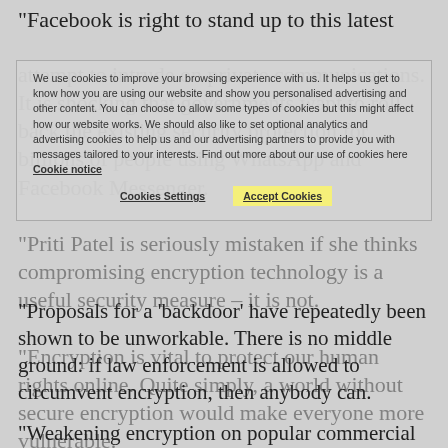“Facebook is right to stand up to this latest attempt to intrude on private communications. It is shocking that governments want to roll back the existing security protection for billions of people using WhatsApp and Facebook Messenger.
“Priti Patel is seriously mistaken if she thinks compromising encryption technology is a useful security measure – it is not.
“Encryption is vital to protect our human rights online. Quite simply, a world without secure encryption would make everyone more vulnerable.
We use cookies to improve your browsing experience with us. It helps us get to know how you are using our website and show you personalised advertising and other content. You can choose to allow some types of cookies but this might affect how our website works. We should also like to set optional analytics and advertising cookies to help us and our advertising partners to provide you with messages tailored to your interests. Find out more about our use of cookies here Cookie notice
Cookies Settings   Accept Cookies
“Proposals for a ‘backdoor’ have repeatedly been shown to be unworkable. There is no middle ground: if law enforcement is allowed to circumvent encryption, then anybody can.
“Weakening encryption on popular commercial